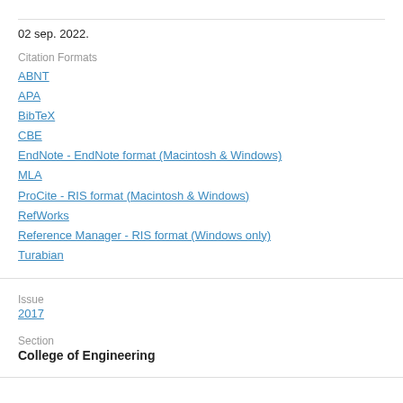02 sep. 2022.
Citation Formats
ABNT
APA
BibTeX
CBE
EndNote - EndNote format (Macintosh & Windows)
MLA
ProCite - RIS format (Macintosh & Windows)
RefWorks
Reference Manager - RIS format (Windows only)
Turabian
Issue
2017
Section
College of Engineering